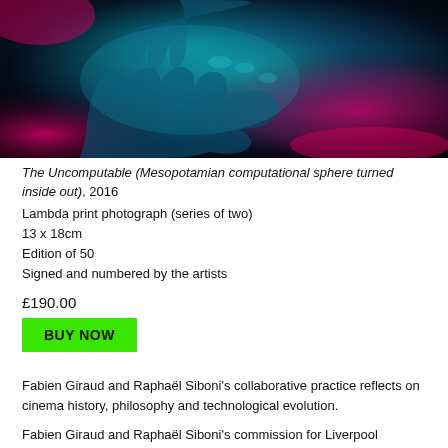[Figure (photo): Close-up photograph of hands lit with blue and magenta/pink neon light against a dark background, showing fingers and palm in dramatic teal and pink hues.]
The Uncomputable (Mesopotamian computational sphere turned inside out), 2016
Lambda print photograph (series of two)
13 x 18cm
Edition of 50
Signed and numbered by the artists
£190.00
BUY NOW
Fabien Giraud and Raphaël Siboni's collaborative practice reflects on cinema history, philosophy and technological evolution.
Fabien Giraud and Raphaël Siboni's commission for Liverpool Biennial started with The Uncomputable, based on a...